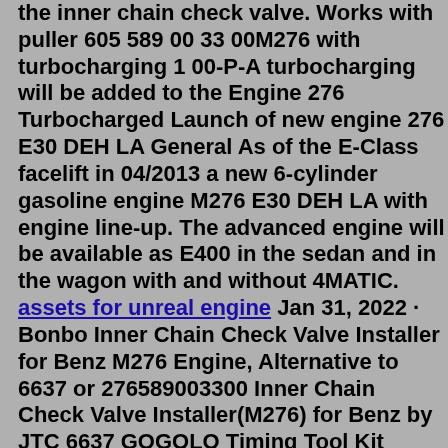the inner chain check valve. Works with puller 605 589 00 33 00M276 with turbocharging 1 00-P-A turbocharging will be added to the Engine 276 Turbocharged Launch of new engine 276 E30 DEH LA General As of the E-Class facelift in 04/2013 a new 6-cylinder gasoline engine M276 E30 DEH LA with engine line-up. The advanced engine will be available as E400 in the sedan and in the wagon with and without 4MATIC. assets for unreal engine Jan 31, 2022 · Bonbo Inner Chain Check Valve Installer for Benz M276 Engine, Alternative to 6637 or 276589003300 Inner Chain Check Valve Installer(M276) for Benz by JTC 6637 GOGOLO Timing Tool Kit Engine Camshaft Locking Alignment Tools,for Mercedes Benz M157 M276 M278 with T100 and Injector Removal Puller Tool The owner of this Kelowna Mercedes GL350 came to us with concerns about rough-running and hard-starting. By use of a borescope (a small camera that allows internal viewing of engine components), it was discovered that there was a carbon buildup around the cylinder ports